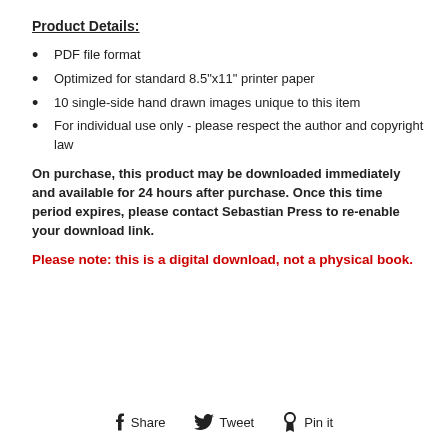Product Details:
PDF file format
Optimized for standard 8.5"x11" printer paper
10 single-side hand drawn images unique to this item
For individual use only - please respect the author and copyright law
On purchase, this product may be downloaded immediately and available for 24 hours after purchase. Once this time period expires, please contact Sebastian Press to re-enable your download link.
Please note: this is a digital download, not a physical book.
Share   Tweet   Pin it